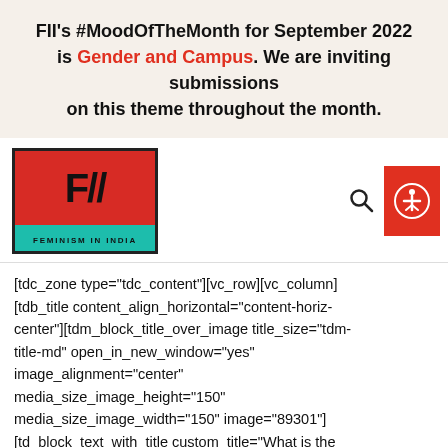FII's #MoodOfTheMonth for September 2022 is Gender and Campus. We are inviting submissions on this theme throughout the month.
[Figure (logo): FII (Feminism In India) logo: red box with black F// letters and teal bottom bar with 'FEMINISM IN INDIA' text]
[Figure (other): Search icon and red accessibility icon button on the right side of the navigation bar]
[tdc_zone type="tdc_content"][vc_row][vc_column][tdb_title content_align_horizontal="content-horiz-center"][tdm_block_title_over_image title_size="tdm-title-md" open_in_new_window="yes" image_alignment="center" media_size_image_height="150" media_size_image_width="150" image="89301"][td_block_text_with_title custom_title="What is the #MyBodyMyMethod Campaign? "]
The #MyBodyMyMethod campaign by Feminism In